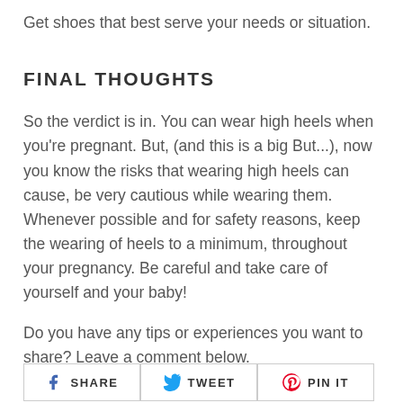Get shoes that best serve your needs or situation.
FINAL THOUGHTS
So the verdict is in. You can wear high heels when you're pregnant. But, (and this is a big But...), now you know the risks that wearing high heels can cause, be very cautious while wearing them. Whenever possible and for safety reasons, keep the wearing of heels to a minimum, throughout your pregnancy. Be careful and take care of yourself and your baby!
Do you have any tips or experiences you want to share? Leave a comment below.
[Figure (other): Social share buttons: SHARE (Facebook), TWEET (Twitter), PIN IT (Pinterest)]